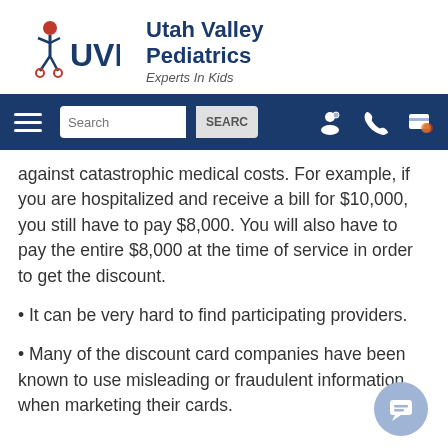[Figure (logo): Utah Valley Pediatrics logo with UVP text and child figure icon, alongside text 'Utah Valley Pediatrics' and tagline 'Experts In Kids']
[Figure (screenshot): Website navigation bar with hamburger menu, search box with SEARCH button, and icons for account, phone, and payment]
against catastrophic medical costs. For example, if you are hospitalized and receive a bill for $10,000, you still have to pay $8,000. You will also have to pay the entire $8,000 at the time of service in order to get the discount.
• It can be very hard to find participating providers.
• Many of the discount card companies have been known to use misleading or fraudulent information when marketing their cards.